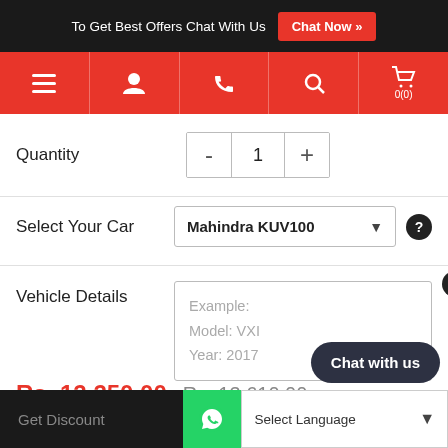To Get Best Offers Chat With Us   Chat Now »
[Figure (screenshot): Red navigation bar with hamburger menu, user icon, phone icon, search icon, and cart icon (0 items)]
Quantity  -  1  +
Select Your Car   Mahindra KUV100 ▼  ?
Vehicle Details   Example: Model: VXI  Year: 2017   ?
Rs. 12,250.00   Rs. 13,610.00
📅 EMI option available : View EMI Plans ❯
Chat with us
Get Discount   [WhatsApp icon]   Select Language ▾